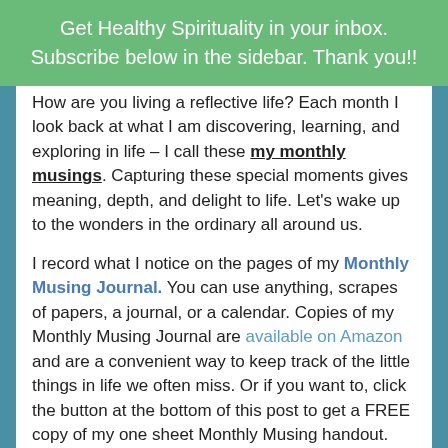Get Healthy Spirituality in your inbox. Subscribe below in the sidebar. Thank you!!
How are you living a reflective life? Each month I look back at what I am discovering, learning, and exploring in life – I call these my monthly musings. Capturing these special moments gives meaning, depth, and delight to life. Let's wake up to the wonders in the ordinary all around us.
I record what I notice on the pages of my Monthly Musing Journal. You can use anything, scrapes of papers, a journal, or a calendar. Copies of my Monthly Musing Journal are available on Amazon and are a convenient way to keep track of the little things in life we often miss. Or if you want to, click the button at the bottom of this post to get a FREE copy of my one sheet Monthly Musing handout.